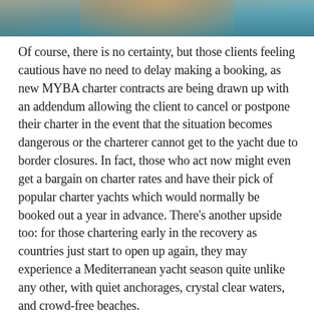[Figure (photo): Partial view of a person on a boat with blue sea water in the background, cropped at the top of the page.]
Of course, there is no certainty, but those clients feeling cautious have no need to delay making a booking, as new MYBA charter contracts are being drawn up with an addendum allowing the client to cancel or postpone their charter in the event that the situation becomes dangerous or the charterer cannot get to the yacht due to border closures. In fact, those who act now might even get a bargain on charter rates and have their pick of popular charter yachts which would normally be booked out a year in advance. There’s another upside too: for those chartering early in the recovery as countries just start to open up again, they may experience a Mediterranean yacht season quite unlike any other, with quiet anchorages, crystal clear waters, and crowd-free beaches.